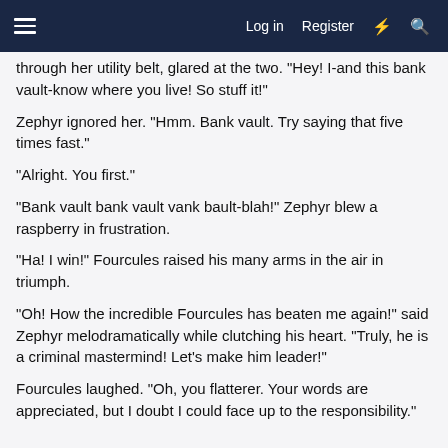Log in  Register
through her utility belt, glared at the two. "Hey! I-and this bank vault-know where you live! So stuff it!"
Zephyr ignored her. "Hmm. Bank vault. Try saying that five times fast."
"Alright. You first."
"Bank vault bank vault vank bault-blah!" Zephyr blew a raspberry in frustration.
"Ha! I win!" Fourcules raised his many arms in the air in triumph.
"Oh! How the incredible Fourcules has beaten me again!" said Zephyr melodramatically while clutching his heart. "Truly, he is a criminal mastermind! Let's make him leader!"
Fourcules laughed. "Oh, you flatterer. Your words are appreciated, but I doubt I could face up to the responsibility."